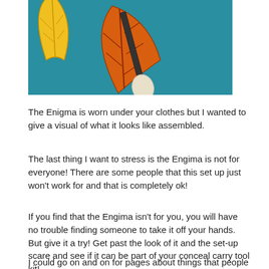[Figure (photo): Photo of autumn leaves (yellow and orange) with a spoon on a teal blue background, partially cropped at top]
The Enigma is worn under your clothes but I wanted to give a visual of what it looks like assembled.
The last thing I want to stress is the Engima is not for everyone! There are some people that this set up just won't work for and that is completely ok!
If you find that the Engima isn't for you, you will have no trouble finding someone to take it off your hands. But give it a try! Get past the look of it and the set-up scare and see if it can be part of your conceal carry tool kit!
I could go on and on for pages about things that people